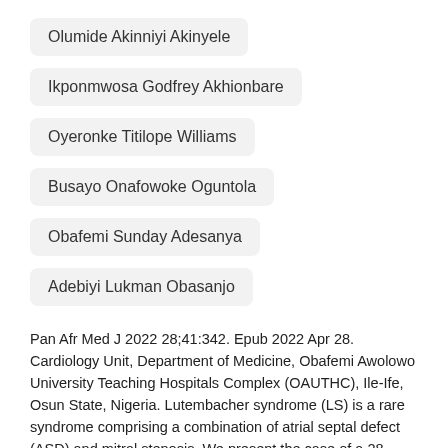Olumide Akinniyi Akinyele
Ikponmwosa Godfrey Akhionbare
Oyeronke Titilope Williams
Busayo Onafowoke Oguntola
Obafemi Sunday Adesanya
Adebiyi Lukman Obasanjo
Pan Afr Med J 2022 28;41:342. Epub 2022 Apr 28. Cardiology Unit, Department of Medicine, Obafemi Awolowo University Teaching Hospitals Complex (OAUTHC), Ile-Ife, Osun State, Nigeria. Lutembacher syndrome (LS) is a rare syndrome comprising a combination of atrial septal defect (ASD) and mitral stenosis. We present the case of a 28-year-old man, who presented with progressively worsening shortness of breath, associated with orthopnoea